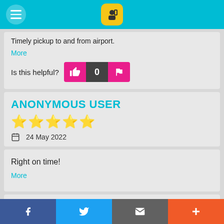App navigation bar with hamburger menu and logo icon
Timely pickup to and from airport.
More
Is this helpful? 0
ANONYMOUS USER
★★★★★ 24 May 2022
Right on time!
More
R.D
Facebook | Twitter | Email | Plus